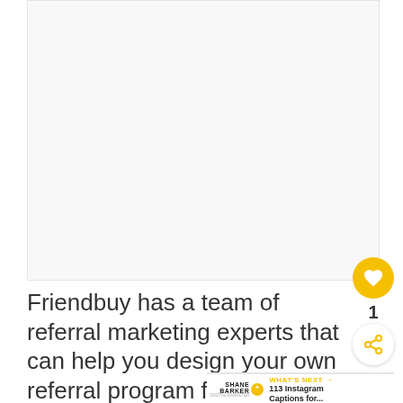[Figure (other): White/light gray image placeholder area]
Friendbuy has a team of referral marketing experts that can help you design your own referral program from scratch. From to execution, they can help you start running your referral program in no time.